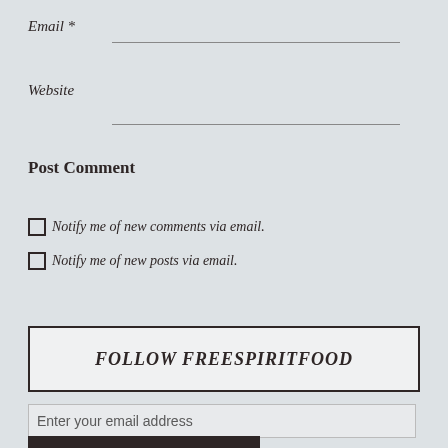Email *
Website
Post Comment
Notify me of new comments via email.
Notify me of new posts via email.
FOLLOW FREESPIRITFOOD
Enter your email address